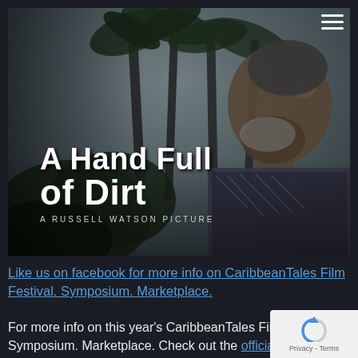[Figure (photo): Movie poster/title card for 'A Hand Full of Dirt – A Russell Watson Picture'. Shows a man in profile (bearded, middle-aged) looking right, wearing a patterned shirt, with palm trees and tropical foliage in the background. Black and white/desaturated tone. Bold white text reads 'A Hand Full of Dirt' with smaller text 'A RUSSELL WATSON PICTURE'.]
Like us on facebook for more info on CaribbeanTales Film Festival. Symposium. Marketplace.
For more info on this year's CaribbeanTales Film Festival. Symposium. Marketplace. Check out the official webs…